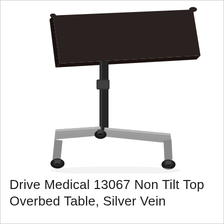[Figure (photo): A Drive Medical overbed table with a dark espresso-colored rectangular tabletop, black height-adjustable center post, and silver vein H-shaped base with four locking caster wheels.]
Drive Medical 13067 Non Tilt Top Overbed Table, Silver Vein